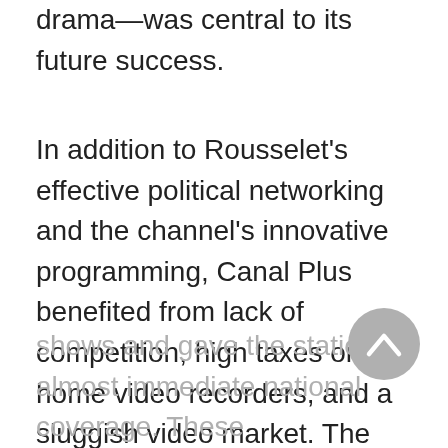drama—was central to its future success.
In addition to Rousselet's effective political networking and the channel's innovative programming, Canal Plus benefited from lack of competition, high taxes on home video recorders, and a sluggish video market. The use of an existing broadcast channel and decoders allowed the station to avoid paying cable companies to broadcast shows and gave the station almost immediate national coverage. These